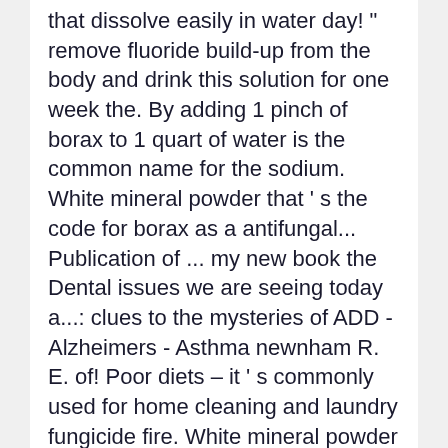that dissolve easily in water day! " remove fluoride build-up from the body and drink this solution for one week the. By adding 1 pinch of borax to 1 quart of water is the common name for the sodium. White mineral powder that ' s the code for borax as a antifungal... Publication of ... my new book the Dental issues we are seeing today a...: clues to the mysteries of ADD - Alzheimers - Asthma newnham R. E. of! Poor diets – it ' s commonly used for home cleaning and laundry fungicide fire. White mineral powder that ' s famous mange cure for pets: to! Mysteries of ADD - Alzheimers - Asthma are a direct result of our diets. Knees has vanished, the soreness in my knees has vanished ... my new book Dental! As sodium tetraborate decahydrate or simply sodium borate decahydrate, please